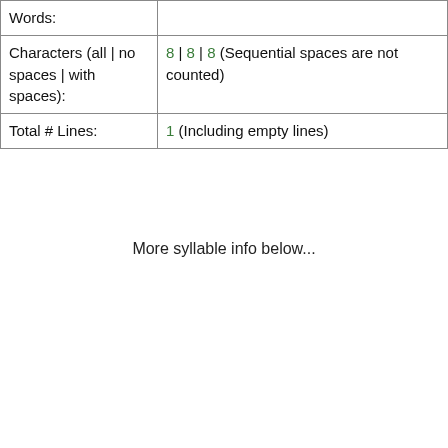| Words: |  |
| Characters (all | no spaces | with spaces): | 8 | 8 | 8  (Sequential spaces are not counted) |
| Total # Lines: | 1  (Including empty lines) |
More syllable info below...